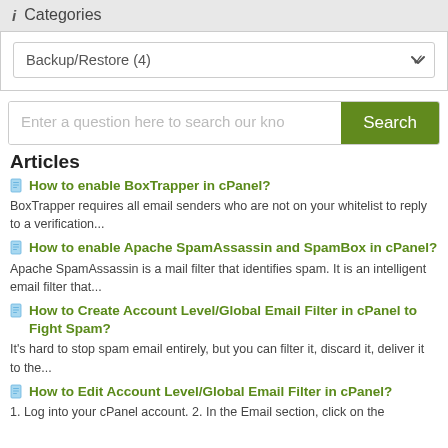ℹ Categories
Backup/Restore (4)
Enter a question here to search our kno
Articles
How to enable BoxTrapper in cPanel? BoxTrapper requires all email senders who are not on your whitelist to reply to a verification...
How to enable Apache SpamAssassin and SpamBox in cPanel? Apache SpamAssassin is a mail filter that identifies spam. It is an intelligent email filter that...
How to Create Account Level/Global Email Filter in cPanel to Fight Spam? It's hard to stop spam email entirely, but you can filter it, discard it, deliver it to the...
How to Edit Account Level/Global Email Filter in cPanel? 1. Log into your cPanel account. 2. In the Email section, click on the